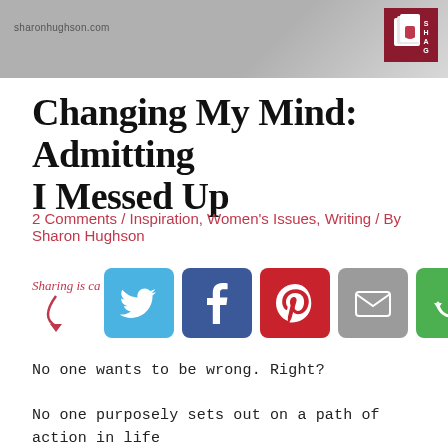sharonhughson.com
Changing My Mind: Admitting I Messed Up
2 Comments / Inspiration, Women's Issues, Writing / By Sharon Hughson
[Figure (infographic): Sharing is caring! text with arrow pointing to social media share buttons: Twitter (blue bird), Facebook (blue f), Pinterest (red p), Email (grey envelope), More (green circular arrows)]
No one wants to be wrong. Right?
No one purposely sets out on a path of action in life